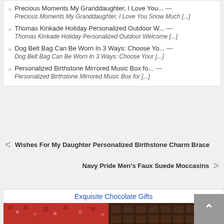Precious Moments My Granddaughter, I Love You... — Precious Moments My Granddaughter, I Love You Snow Much [...]
Thomas Kinkade Holiday Personalized Outdoor W... — Thomas Kinkade Holiday Personalized Outdoor Welcome [...]
Dog Belt Bag Can Be Worn In 3 Ways: Choose Yo... — Dog Belt Bag Can Be Worn In 3 Ways: Choose Your [...]
Personalized Birthstone Mirrored Music Box fo... — Personalized Birthstone Mirrored Music Box for [...]
< Wishes For My Daughter Personalized Birthstone Charm Brace
Navy Pride Men's Faux Suede Moccasins >
Exquisite Chocolate Gifts
[Figure (photo): Photo of chocolate gifts]